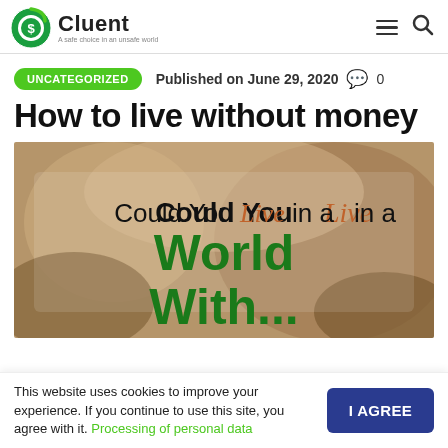Cluent — A safe choice in an unsafe world
UNCATEGORIZED   Published on June 29, 2020   💬 0
How to live without money
[Figure (photo): Featured blog image showing text overlay: 'Could You Live in a World Without' on a blurred background of a person holding coins]
This website uses cookies to improve your experience. If you continue to use this site, you agree with it. Processing of personal data